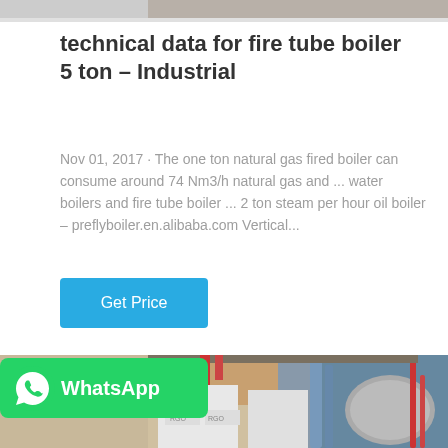[Figure (photo): Top partial image strip, gray/gradient, partial industrial scene at top of page]
technical data for fire tube boiler 5 ton – Industrial
Nov 01, 2017 · The one ton natural gas fired boiler can consume around 74 Nm3/h natural gas and ... water boilers and fire tube boiler ... 2 ton steam per hour oil boiler – preflyboiler.en.alibaba.com Vertical...
Get Price
[Figure (photo): Industrial boiler facility photo showing fire tube boilers, pipes, and equipment in an industrial setting]
[Figure (logo): WhatsApp badge with green background, WhatsApp phone icon and text 'WhatsApp']